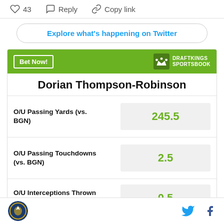43  Reply  Copy link
Explore what's happening on Twitter
Bet Now!
Dorian Thompson-Robinson
| Stat | Value |
| --- | --- |
| O/U Passing Yards (vs. BGN) | 245.5 |
| O/U Passing Touchdowns (vs. BGN) | 2.5 |
| O/U Interceptions Thrown (vs. BGN) | 0.5 |
Site logo | Twitter icon | Facebook icon